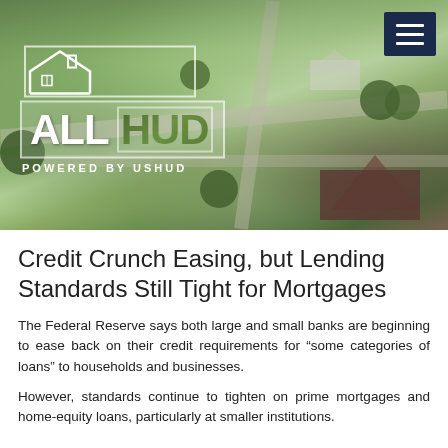[Figure (photo): Aerial view of a suburban neighborhood with green trees, roads, and houses, with the ALL HUD logo overlay and a hamburger menu button in top right corner]
Credit Crunch Easing, but Lending Standards Still Tight for Mortgages
The Federal Reserve says both large and small banks are beginning to ease back on their credit requirements for “some categories of loans” to households and businesses.
However, standards continue to tighten on prime mortgages and home-equity loans, particularly at smaller institutions.